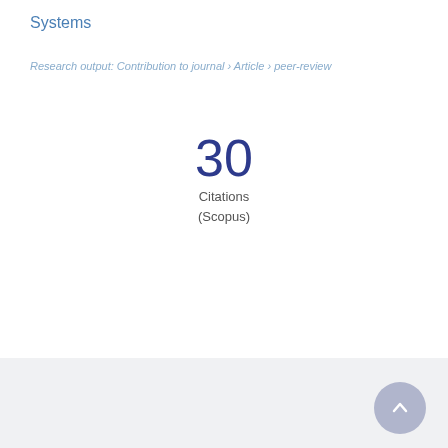Systems
Research output: Contribution to journal › Article › peer-review
30
Citations
(Scopus)
Overview   Fingerprint